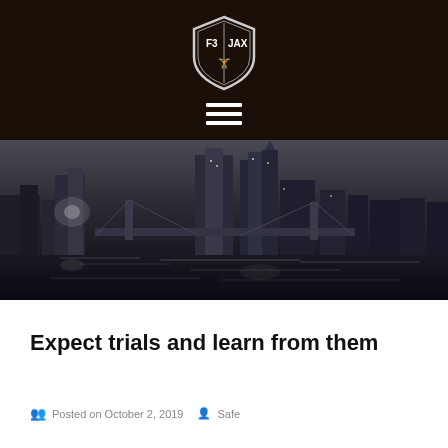[Figure (logo): F3 JAX shield logo in white on dark background]
[Figure (photo): Black and white nighttime photo of Jacksonville Florida city skyline with bridge and river reflections]
Expect trials and learn from them
Posted on October 2, 2019   Safe